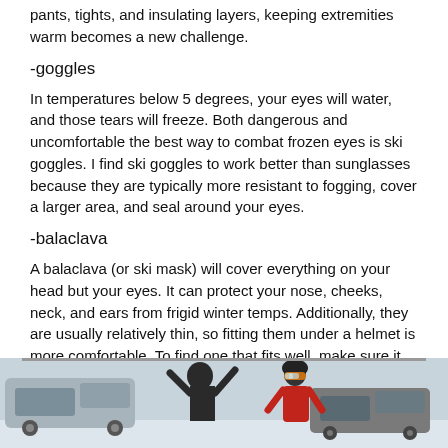pants, tights, and insulating layers, keeping extremities warm becomes a new challenge.
-goggles
In temperatures below 5 degrees, your eyes will water, and those tears will freeze. Both dangerous and uncomfortable the best way to combat frozen eyes is ski goggles. I find ski goggles to work better than sunglasses because they are typically more resistant to fogging, cover a larger area, and seal around your eyes.
-balaclava
A balaclava (or ski mask) will cover everything on your head but your eyes. It can protect your nose, cheeks, neck, and ears from frigid winter temps. Additionally, they are usually relatively thin, so fitting them under a helmet is more comfortable. To find one that fits well, make sure it will cover your face quickly, but also be able to stretch open enough to expose your mouth and nose (see image below).
[Figure (photo): Two people outdoors in a snowy parking lot. One person in dark clothing and balaclava/hood with arms raised, another person in red jacket wearing a helmet and ski goggles.]